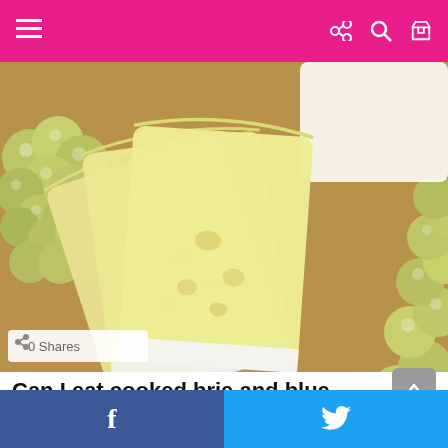Navigation bar with menu, share, search, cart icons
[Figure (photo): Slices of brie cheese fanned out surrounded by green grapes on a wooden board. Badge showing 0 Shares.]
Can I eat cooked brie and blue cheese during pregnancy?
by admin • 6 years ago
Facebook share button | Twitter share button